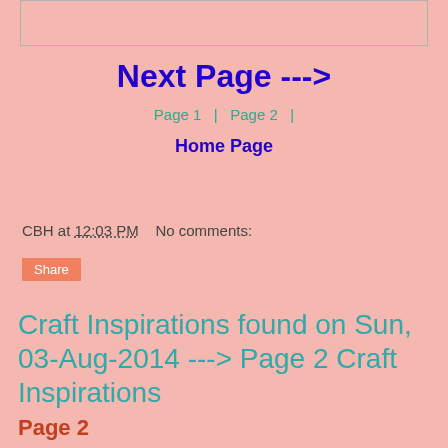Next Page --->
Page 1  |  Page 2  |
Home Page
CBH at 12:03 PM   No comments:
Share
Craft Inspirations found on Sun, 03-Aug-2014 ---> Page 2 Craft Inspirations
Page 2